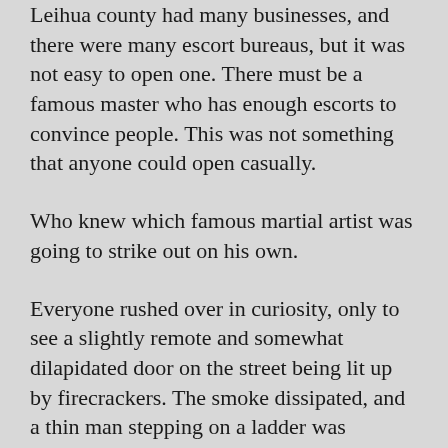Leihua county had many businesses, and there were many escort bureaus, but it was not easy to open one. There must be a famous master who has enough escorts to convince people. This was not something that anyone could open casually.
Who knew which famous martial artist was going to strike out on his own.
Everyone rushed over in curiosity, only to see a slightly remote and somewhat dilapidated door on the street being lit up by firecrackers. The smoke dissipated, and a thin man stepping on a ladder was hanging a plaque on the door with one hand.
The door plaque was somewhat old, like this house, and the words on it had been repainted.
A Righteous Friend, three words shining in the